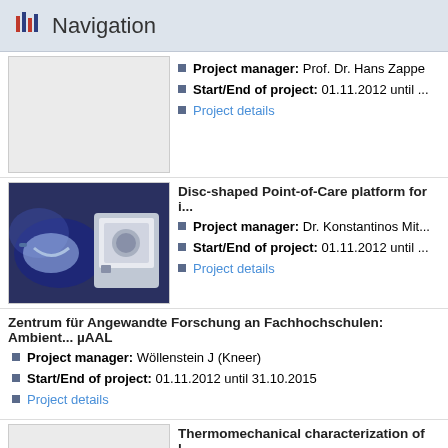Navigation
Project manager: Prof. Dr. Hans Zappe
Start/End of project: 01.11.2012 until ...
Project details
[Figure (photo): Photo of medical/laboratory devices including a face mask and a laboratory instrument]
Disc-shaped Point-of-Care platform for i...
Project manager: Dr. Konstantinos Mit...
Start/End of project: 01.11.2012 until ...
Project details
Zentrum für Angewandte Forschung an Fachhochschulen: Ambient... µAAL
Project manager: Wöllenstein J (Kneer)
Start/End of project: 01.11.2012 until 31.10.2015
Project details
Thermomechanical characterization of l...
Project manager: Prof. Dr. Hans Zappe